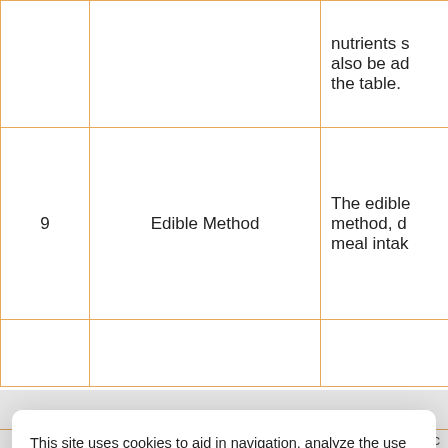| # | Field Name | Description |
| --- | --- | --- |
|  |  | nutrients s also be ad the table. |
| 9 | Edible Method | The edible method, d meal intak |
|  |  | each spec |
This site uses cookies to aid in navigation, analyze the use of our products and services, assist with our marketing efforts, and provide content from third parties. Manage preferences